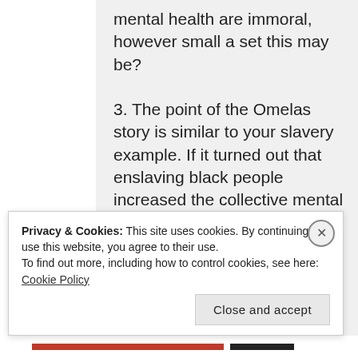mental health are immoral, however small a set this may be?
3. The point of the Omelas story is similar to your slavery example. If it turned out that enslaving black people increased the collective mental health of whites more than it decreased the
Privacy & Cookies: This site uses cookies. By continuing to use this website, you agree to their use.
To find out more, including how to control cookies, see here: Cookie Policy
Close and accept